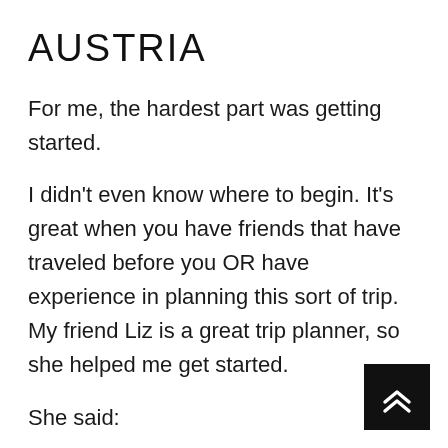AUSTRIA
For me, the hardest part was getting started.
I didn’t even know where to begin. It’s great when you have friends that have traveled before you OR have experience in planning this sort of trip. My friend Liz is a great trip planner, so she helped me get started.
She said:
Start with a chart!
[Figure (other): Navigation button with double upward chevron arrow on black background, positioned in the bottom-right corner]